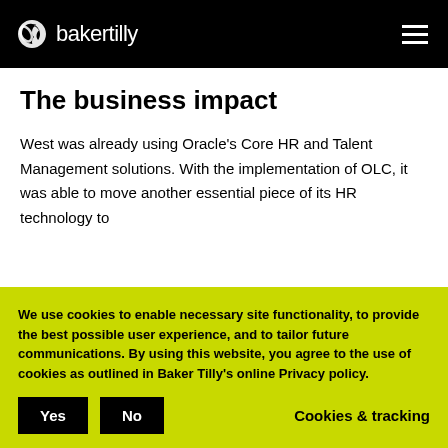bakertilly
The business impact
West was already using Oracle's Core HR and Talent Management solutions. With the implementation of OLC, it was able to move another essential piece of its HR technology to
We use cookies to enable necessary site functionality, to provide the best possible user experience, and to tailor future communications. By using this website, you agree to the use of cookies as outlined in Baker Tilly's online Privacy policy.
Yes   No   Cookies & tracking